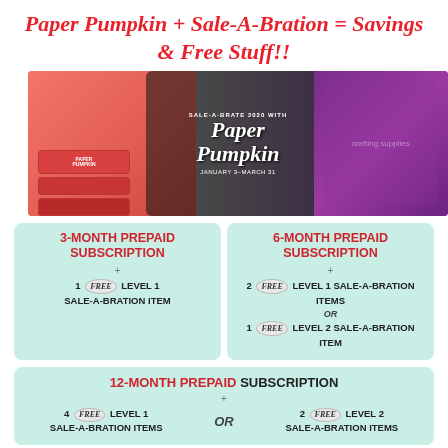Paper Pumpkin + Sale-A-Bration = Savings & Free Stuff!!
[Figure (photo): Banner image showing Paper Pumpkin red subscription boxes on the left, people crafting in the middle with text 'SALE-A-BRATE 2020 WITH Paper Pumpkin JANUARY 3–MARCH 31', and crafting supplies on purple background on the right]
3-MONTH PREPAID SUBSCRIPTION + 1 Free LEVEL 1 SALE-A-BRATION ITEM
6-MONTH PREPAID SUBSCRIPTION + 2 Free LEVEL 1 SALE-A-BRATION ITEMS or 1 Free LEVEL 2 SALE-A-BRATION ITEM
12-MONTH PREPAID SUBSCRIPTION + 4 Free LEVEL 1 SALE-A-BRATION ITEMS or 2 Free LEVEL 2 SALE-A-BRATION ITEMS